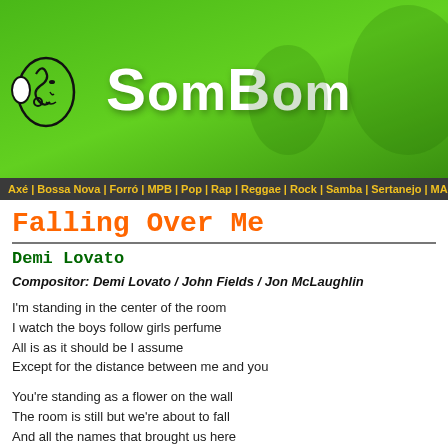[Figure (logo): SomBom website banner with green background, musical note logo on left, and 'SomBom' text in white]
Axé | Bossa Nova | Forró | MPB | Pop | Rap | Reggae | Rock | Samba | Sertanejo | MA
Falling Over Me
Demi Lovato
Compositor: Demi Lovato / John Fields / Jon McLaughlin
I'm standing in the center of the room
I watch the boys follow girls perfume
All is as it should be I assume
Except for the distance between me and you
You're standing as a flower on the wall
The room is still but we're about to fall
And all the names that brought us here
Simply fade away ...
Who you are is fall is falling over me
(Who you are is fall is falling over me)
Who you are is everything I need
(Who you are is everything I need)